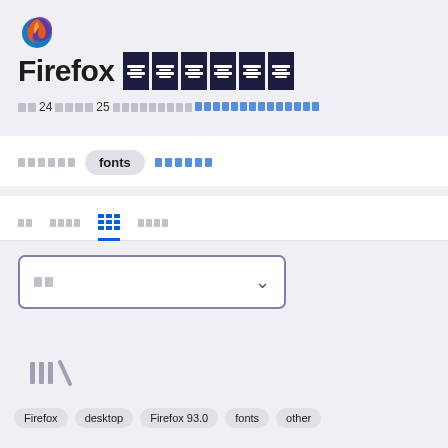[Figure (logo): Firefox browser logo - orange and purple flame with globe]
Firefox [stylized glyph boxes]
oo 24 oooo 25 ooooooooo[link text underlined]
ooooooo  fonts  [link: ooooooo]
oo  ooooo  [grid icon active]  oooo
oo [dropdown]
[Figure (illustration): Library/bookmark icon (IIN\)]
Firefox  desktop  Firefox 93.0  fonts  other